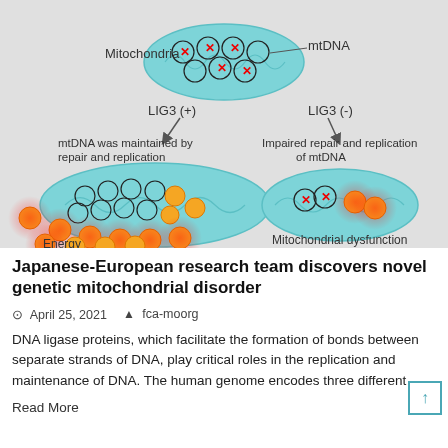[Figure (schematic): Scientific diagram showing mitochondria with mtDNA. Top center: a mitochondrion with circles (some with red X marks) labeled 'Mitochondria' on left and 'mtDNA' on right. Two branches below: LIG3(+) on left leading to a large mitochondrion with many circles and orange energy spheres spilling out, labeled 'mtDNA was maintained by repair and replication' and 'Energy'. LIG3(-) on right leading to a smaller mitochondrion with few circles and orange dots, labeled 'Impaired repair and replication of mtDNA' and 'Mitochondrial dysfunction'.]
Japanese-European research team discovers novel genetic mitochondrial disorder
April 25, 2021   fca-moorg
DNA ligase proteins, which facilitate the formation of bonds between separate strands of DNA, play critical roles in the replication and maintenance of DNA. The human genome encodes three different
Read More